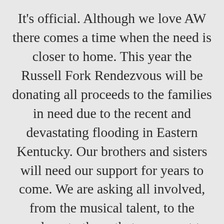It's official. Although we love AW there comes a time when the need is closer to home. This year the Russell Fork Rendezvous will be donating all proceeds to the families in need due to the recent and devastating flooding in Eastern Kentucky. Our brothers and sisters will need our support for years to come. We are asking all involved, from the musical talent, to the vendors, to those that may want to sponsor and finally to all those that hold this small festival near and dear to pitch in. Your support will never be more appreciated or more needed